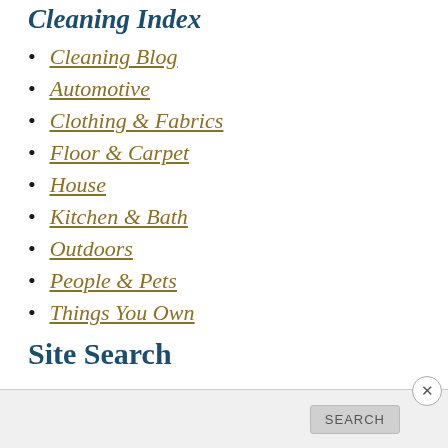Cleaning Index
Cleaning Blog
Automotive
Clothing & Fabrics
Floor & Carpet
House
Kitchen & Bath
Outdoors
People & Pets
Things You Own
Site Search